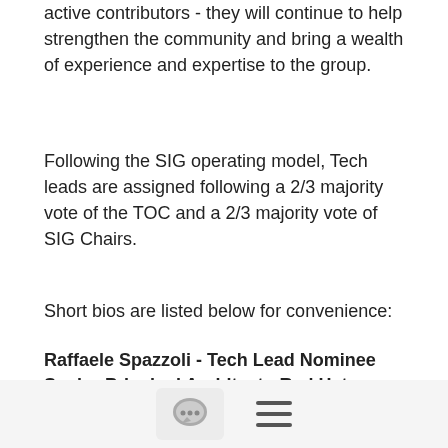active contributors - they will continue to help strengthen the community and bring a wealth of experience and expertise to the group.
Following the SIG operating model, Tech leads are assigned following a 2/3 majority vote of the TOC and a 2/3 majority vote of SIG Chairs.
Short bios are listed below for convenience:
Raffaele Spazzoli - Tech Lead Nominee
Senior Principal Architect - Red Hat
Raffaele is a full-stack enterprise architect with 20+ years of experience. Raffaele started his career in Italy as a Java Architect then gradually moved to Integration Architect and then Enterprise Architect. Later he moved